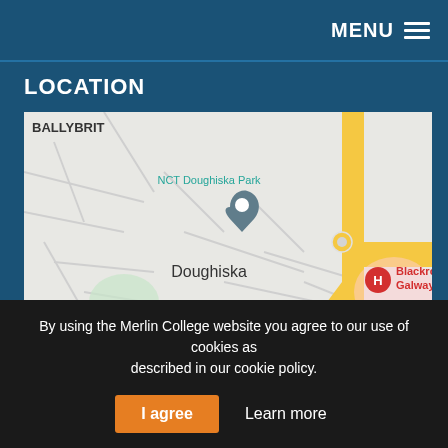MENU
LOCATION
[Figure (map): Google Maps screenshot showing Doughiska, Ballybrit area in Galway, Ireland. Shows NCT Doughiska Park with a location pin, Merlin Park Woods, Merlin Park Hospital, Blackrock Galway, and roads including N67.]
By using the Merlin College website you agree to our use of cookies as described in our cookie policy.
I agree  Learn more